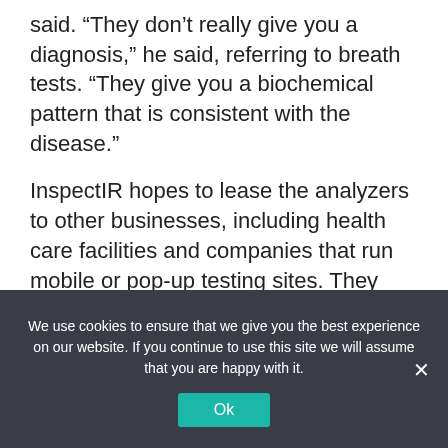said. “They don’t really give you a diagnosis,” he said, referring to breath tests. “They give you a biochemical pattern that is consistent with the disease.”
InspectIR hopes to lease the analyzers to other businesses, including health care facilities and companies that run mobile or pop-up testing sites. They could be used to test travelers at airports or workers in an office building, the co-founders said, adding that there has already been interest from professional sports leagues and companies in the travel industry.
We use cookies to ensure that we give you the best experience on our website. If you continue to use this site we will assume that you are happy with it.